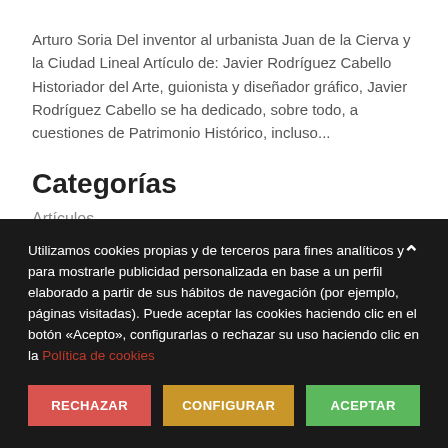Arturo Soria Del inventor al urbanista Juan de la Cierva y la Ciudad Lineal Artículo de: Javier Rodríguez Cabello Historiador del Arte, guionista y diseñador gráfico, Javier Rodríguez Cabello se ha dedicado, sobre todo, a cuestiones de Patrimonio Histórico, incluso...
Categorías
Artículos
Utilizamos cookies propias y de terceros para fines analíticos y para mostrarle publicidad personalizada en base a un perfil elaborado a partir de sus hábitos de navegación (por ejemplo, páginas visitadas). Puede aceptar las cookies haciendo clic en el botón «Acepto», configurarlas o rechazar su uso haciendo clic en la Política de cookies